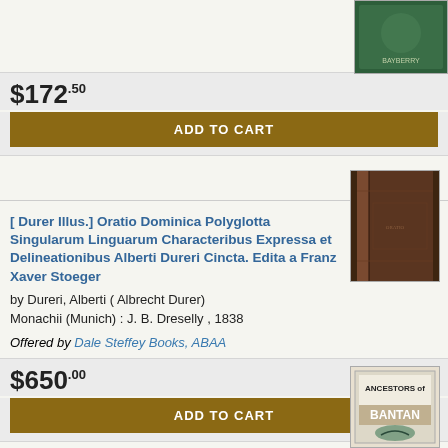[Figure (photo): Partial book cover image (green background) at top right]
$172.50
ADD TO CART
[ Durer Illus.] Oratio Dominica Polyglotta Singularum Linguarum Characteribus Expressa et Delineationibus Alberti Dureri Cincta. Edita a Franz Xaver Stoeger
by Dureri, Alberti ( Albrecht Durer)
Monachii (Munich) : J. B. Dreselly , 1838
Offered by Dale Steffey Books, ABAA
[Figure (photo): Brown/dark leather bound book, spine visible, aged antique book]
$650.00
ADD TO CART
[ ORIGINAL BOOK COVER ART ] for "Ancestors of Bantan " by Maurice B. Gardner
by Prosser, David ; [Gardner, Maurice B. ]
[ Brooklyn, NY ] : [ Theo. Gaus' Sons ] , 1976
[Figure (photo): Cover art showing Ancestors of Bantan book with BANTAN text and bird/fish illustration]